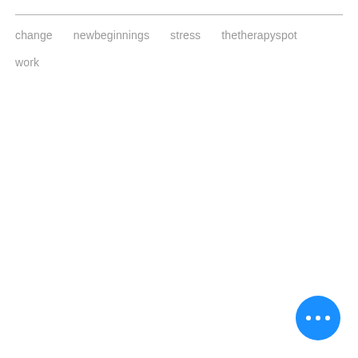change   newbeginnings   stress   thetherapyspot   work
[Figure (other): Blue circular button with three white dots (more options / FAB button)]